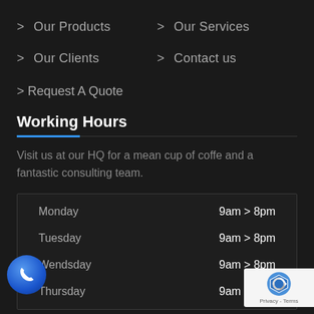> Our Products
> Our Services
> Our Clients
> Contact us
> Request A Quote
Working Hours
Visit us at our HQ for a mean cup of coffe and a fantastic consulting team.
| Day | Hours |
| --- | --- |
| Monday | 9am > 8pm |
| Tuesday | 9am > 8pm |
| Wendsday | 9am > 8pm |
| Thursday | 9am > 8pm |